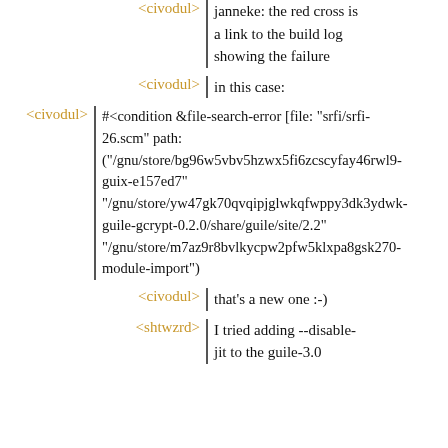<civodul> janneke: the red cross is a link to the build log showing the failure
<civodul> in this case:
<civodul> #<condition &file-search-error [file: "srfi/srfi-26.scm" path: ("/gnu/store/bg96w5vbv5hzwx5fi6zcscyfay46rwl9-guix-e157ed7" "/gnu/store/yw47gk70qvqipjglwkqfwppy3dk3ydwk-guile-gcrypt-0.2.0/share/guile/site/2.2" "/gnu/store/m7az9r8bvlkycpw2pfw5klxpa8gsk270-module-import")
<civodul> that's a new one :-)
<shtwzrd> I tried adding --disable-jit to the guile-3.0